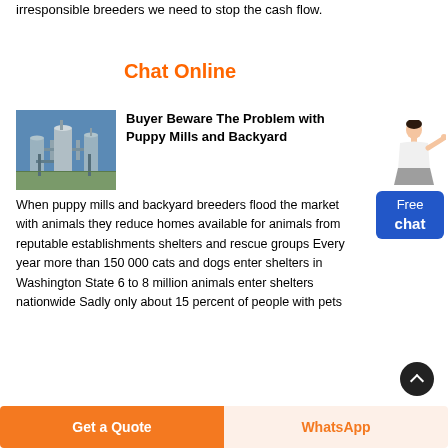irresponsible breeders we need to stop the cash flow.
Chat Online
[Figure (photo): Industrial facility with blue and silver industrial tanks and pipework against a blue sky]
Buyer Beware The Problem with Puppy Mills and Backyard
When puppy mills and backyard breeders flood the market with animals they reduce homes available for animals from reputable establishments shelters and rescue groups Every year more than 150 000 cats and dogs enter shelters in Washington State 6 to 8 million animals enter shelters nationwide Sadly only about 15 percent of people with pets
[Figure (illustration): A woman in a white blouse and grey skirt standing and pointing, with a blue Free chat widget box below her]
Get a Quote
WhatsApp